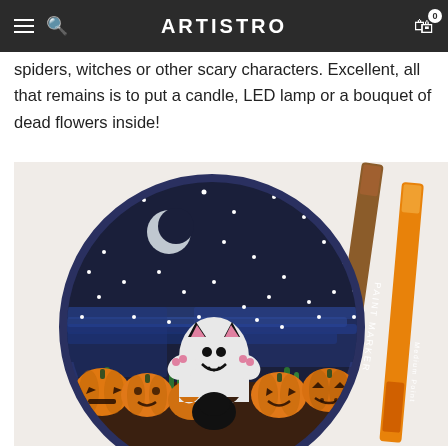ARTISTRO
spiders, witches or other scary characters. Excellent, all that remains is to put a candle, LED lamp or a bouquet of dead flowers inside!
[Figure (photo): A decorative painted plate featuring a Halloween scene: a ghost-cat character in the center surrounded by jack-o-lantern pumpkins, set against a dark night sky with a crescent moon and white dots. Two paint markers (brown and orange) are visible beside the plate on a white textured background.]